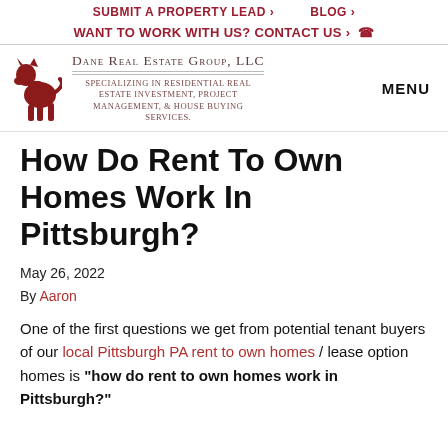SUBMIT A PROPERTY LEAD ›    BLOG ›
WANT TO WORK WITH US? CONTACT US ›
[Figure (logo): Dane Real Estate Group LLC logo with red dog silhouette and text: Specializing in Residential Real Estate Investment, Project Management, & House Buying Services.]
How Do Rent To Own Homes Work In Pittsburgh?
May 26, 2022
By Aaron
One of the first questions we get from potential tenant buyers of our local Pittsburgh PA rent to own homes / lease option homes is "how do rent to own homes work in Pittsburgh?"